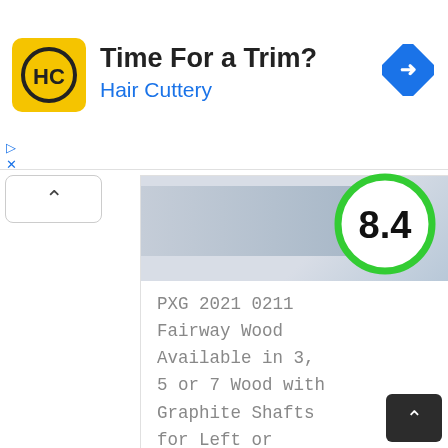[Figure (screenshot): Hair Cuttery advertisement banner with yellow logo showing HC monogram, headline 'Time For a Trim?' and brand name 'Hair Cuttery' in blue, with a blue diamond arrow icon on the right.]
[Figure (infographic): Score badge showing '8.4' in bold black text inside a green circle ring, overlaid on a blue/product image strip.]
PXG 2021 0211 Fairway Wood Available in 3, 5 or 7 Wood with Graphite Shafts for Left or Right Handed Golfers (Right, Graphite, Regular, 5 Wood)